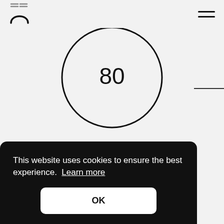[Figure (logo): App logo: stylized arch/rainbow icon with stacked lines above]
[Figure (other): Hamburger menu icon: two horizontal lines]
[Figure (other): Large circle with number 80 inside]
Minutes of Animation
This website uses cookies to ensure the best experience.  Learn more
OK